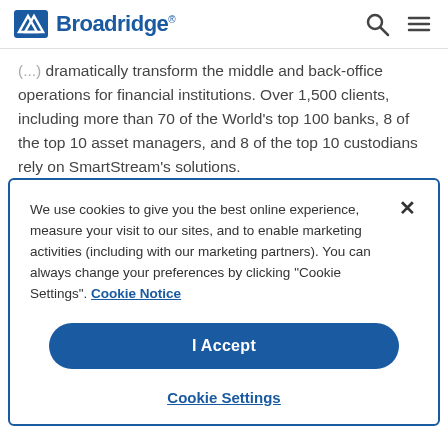Broadridge
(...) dramatically transform the middle and back-office operations for financial institutions. Over 1,500 clients, including more than 70 of the World's top 100 banks, 8 of the top 10 asset managers, and 8 of the top 10 custodians rely on SmartStream's solutions.
We use cookies to give you the best online experience, measure your visit to our sites, and to enable marketing activities (including with our marketing partners). You can always change your preferences by clicking “Cookie Settings”. Cookie Notice
I Accept
Cookie Settings